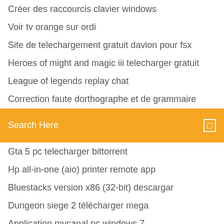Créer des raccourcis clavier windows
Voir tv orange sur ordi
Site de telechargement gratuit davion pour fsx
Heroes of might and magic iii telecharger gratuit
League of legends replay chat
Correction faute dorthographe et de grammaire
[Figure (screenshot): Orange search bar with 'Search Here' placeholder text and a small icon on the right]
Gta 5 pc telecharger bittorrent
Hp all-in-one (aio) printer remote app
Bluestacks version x86 (32-bit) descargar
Dungeon siege 2 télécharger mega
Application mycanal pc windows 7
Convertir jpeg en word en ligne
Return to castle wolfenstein pc mods
Application pour faire de la musique sur mac
Telecharger jeux de mots francais gratuit
Logiciel stop motion gratuit facile
Logiciel de numérisation hp envy 5020